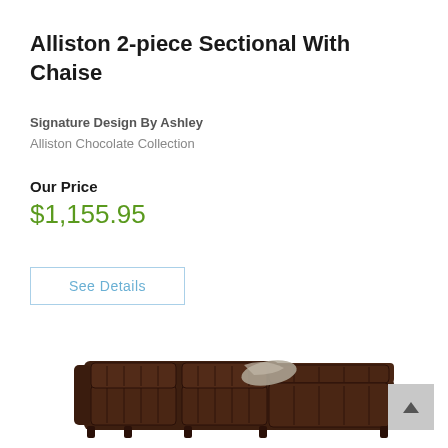Alliston 2-piece Sectional With Chaise
Signature Design By Ashley
Alliston Chocolate Collection
Our Price
$1,155.95
See Details
[Figure (photo): Dark brown leather sectional sofa with chaise, tufted back cushions, shown from a front-angle view]